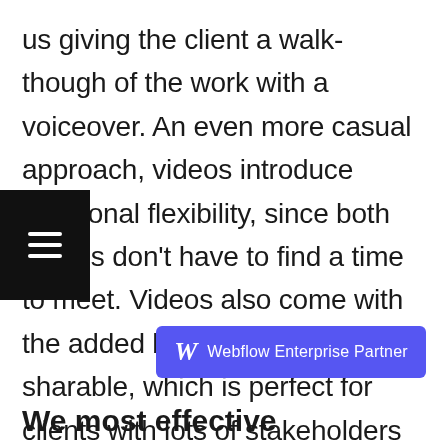us giving the client a walk-though of the work with a voiceover. An even more casual approach, videos introduce additional flexibility, since both parties don't have to find a time to meet. Videos also come with the added benefit of being sharable, which is perfect for clients with lots of stakeholders who would like to see the work, but who may not be able to coordinate schedules to make it to the same meeting. Rather than having to scroll their way through a deck, they get to hear in our words what we were thinking about the work, and why we made the decisions that we did.
[Figure (other): Black hamburger menu icon overlay in bottom-left corner]
[Figure (logo): Webflow Enterprise Partner badge — purple rectangle with W logo and text]
We most effective